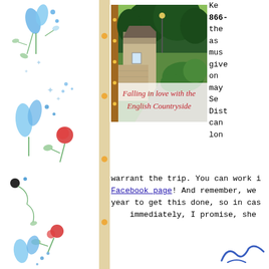[Figure (illustration): Left decorative border with blue and red floral watercolor illustrations on white background]
[Figure (photo): Book cover photo showing English countryside village road with stone cottage and lush greenery, titled 'Falling in love with the English Countryside' in red script text]
Ke
866-
the
as
mus
give
on
may
Se
Dist
can
lon
warrant the trip. You can work i
Facebook page! And remember, we
year to get this done, so in cas
immediately, I promise, she
[Figure (illustration): Blue handwritten signature at bottom right]